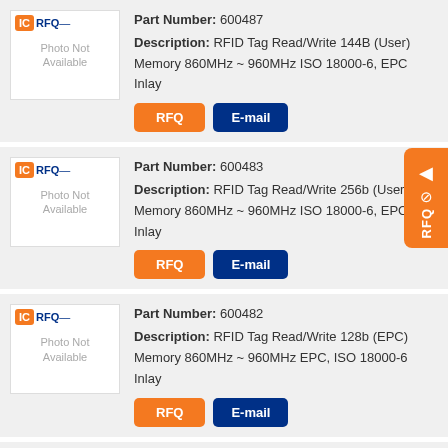Part Number: 600487 Description: RFID Tag Read/Write 144B (User) Memory 860MHz ~ 960MHz ISO 18000-6, EPC Inlay
Part Number: 600483 Description: RFID Tag Read/Write 256b (User) Memory 860MHz ~ 960MHz ISO 18000-6, EPC Inlay
Part Number: 600482 Description: RFID Tag Read/Write 128b (EPC) Memory 860MHz ~ 960MHz EPC, ISO 18000-6 Inlay
Part Number: 600561 Description: RFID Tag Read/Write 128b (EPC)